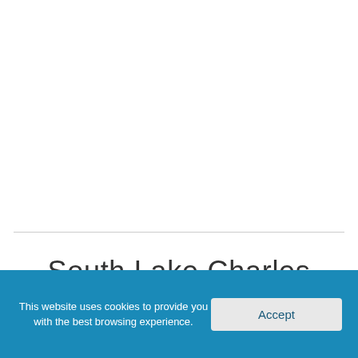South Lake Charles Office
This website uses cookies to provide you with the best browsing experience.